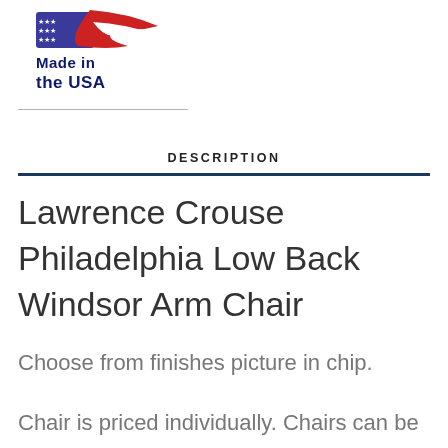[Figure (logo): Made in the USA logo with American flag ribbon and bold navy blue text reading 'Made in the USA']
DESCRIPTION
Lawrence Crouse Philadelphia Low Back Windsor Arm Chair
Choose from finishes picture in chip.
Chair is priced individually. Chairs can be